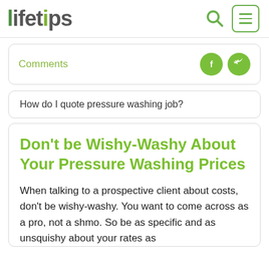lifetips
Comments
How do I quote pressure washing job?
Don't be Wishy-Washy About Your Pressure Washing Prices
When talking to a prospective client about costs, don't be wishy-washy. You want to come across as a pro, not a shmo. So be as specific and as unsquishy about your rates as